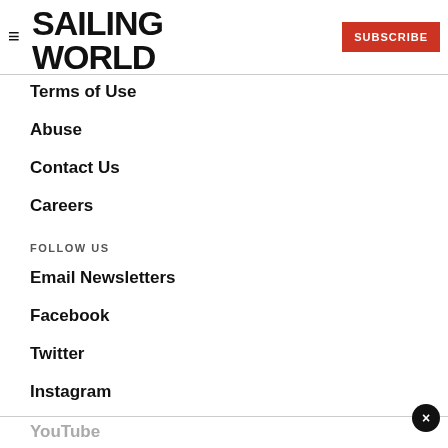SAILING WORLD
Terms of Use
Abuse
Contact Us
Careers
FOLLOW US
Email Newsletters
Facebook
Twitter
Instagram
YouTube